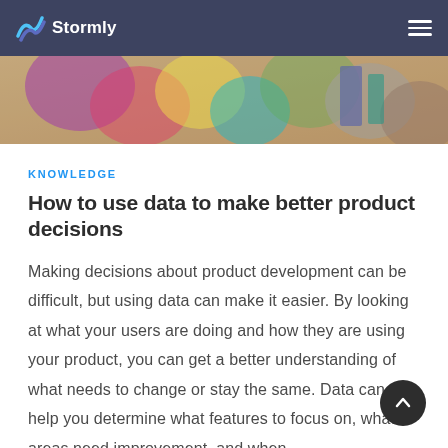Stormly
[Figure (photo): Colorful blurred photo of people or objects, used as a decorative hero image banner at the top of the article page]
KNOWLEDGE
How to use data to make better product decisions
Making decisions about product development can be difficult, but using data can make it easier. By looking at what your users are doing and how they are using your product, you can get a better understanding of what needs to change or stay the same. Data can help you determine what features to focus on, what areas need improvement, and when